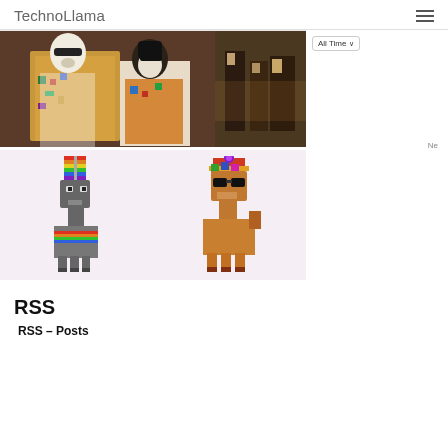TechnoLlama
[Figure (illustration): Two images: left shows a stylized painting of llamas in colorful robes (Klimt-style), right shows a classical painting with figures in dark tones]
[Figure (illustration): Two pixel-art style llamas: a dark grey llama with rainbow accessories and a brown llama with colorful hat and sunglasses, on a pink background]
RSS
RSS – Posts